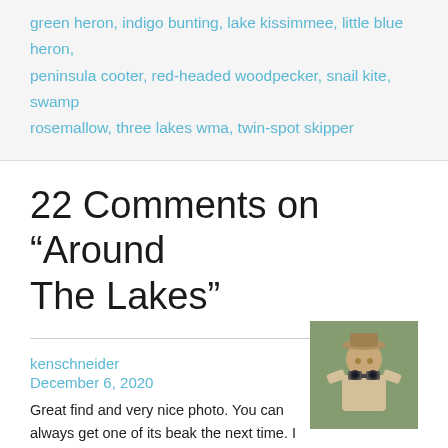green heron, indigo bunting, lake kissimmee, little blue heron, peninsula cooter, red-headed woodpecker, snail kite, swamp rosemallow, three lakes wma, twin-spot skipper
22 Comments on “Around The Lakes”
kenschneider
December 6, 2020
[Figure (photo): Photo of a person wearing a hat and looking through binoculars, outdoors with green foliage in background]
Great find and very nice photo. You can always get one of its beak the next time. I saw one BTGW locally in south Florida this year on November 11, thinking it was a new bird for my patch. This prompted me to look it up on eBird and showed that i had seen and photographed one here back in 2015, but